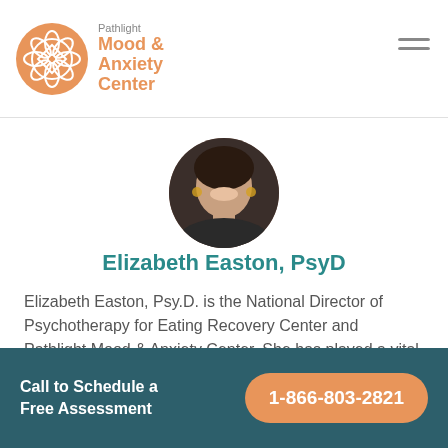Pathlight Mood & Anxiety Center
[Figure (photo): Circular profile photo of Elizabeth Easton, a woman smiling, wearing gold hoop earrings and a dark jacket]
Elizabeth Easton, PsyD
Elizabeth Easton, Psy.D. is the National Director of Psychotherapy for Eating Recovery Center and Pathlight Mood & Anxiety Center. She has played a vital role in the creation and development of...
Call to Schedule a Free Assessment 1-866-803-2821